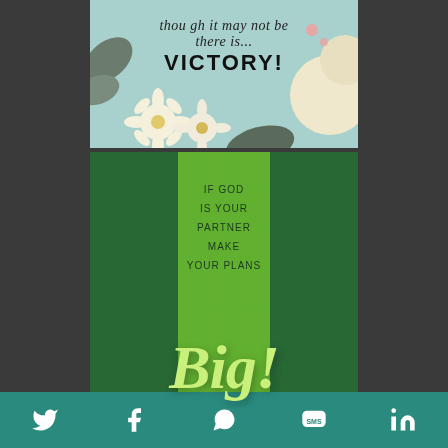[Figure (illustration): Inspirational card with light teal background, illustrated flowers (white daisies, cream blooms, dark leaves, pink dots), and hand-lettered text reading 'there is... VICTORY!' with script above]
[Figure (illustration): Inspirational card with dark green textured background, bright green vertical stripe in center, text reading 'IF GOD IS YOUR PARTNER MAKE YOUR PLANS' in small caps, and large brush-script 'Big!' in light yellow-green at bottom]
[Figure (infographic): Social sharing bar with teal background showing icons for Twitter, Facebook, WhatsApp, SMS, and LinkedIn]